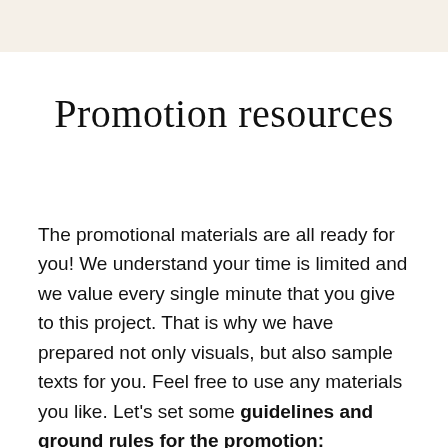Promotion resources
The promotional materials are all ready for you! We understand your time is limited and we value every single minute that you give to this project. That is why we have prepared not only visuals, but also sample texts for you. Feel free to use any materials you like. Let’s set some guidelines and ground rules for the promotion: